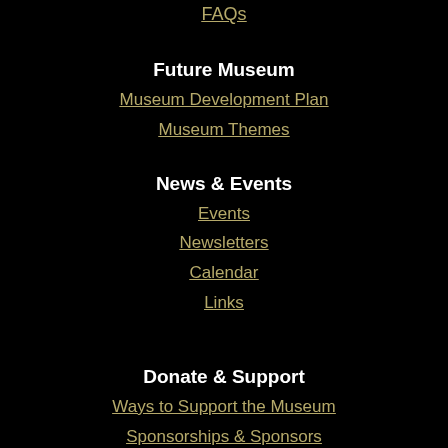FAQs
Future Museum
Museum Development Plan
Museum Themes
News & Events
Events
Newsletters
Calendar
Links
Donate & Support
Ways to Support the Museum
Sponsorships & Sponsors
Donate Now
Donation Options
Wall of Honor